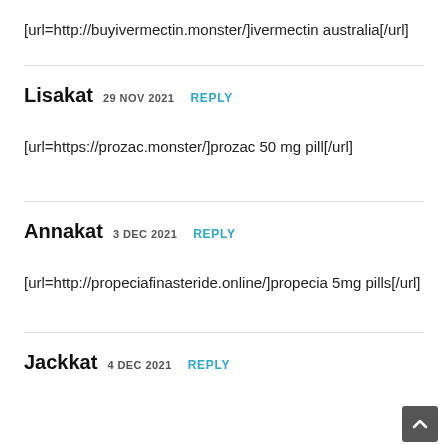[url=http://buyivermectin.monster/]ivermectin australia[/url]
Lisakat 29 NOV 2021 REPLY
[url=https://prozac.monster/]prozac 50 mg pill[/url]
Annakat 3 DEC 2021 REPLY
[url=http://propeciafinasteride.online/]propecia 5mg pills[/url]
Jackkat 4 DEC 2021 REPLY